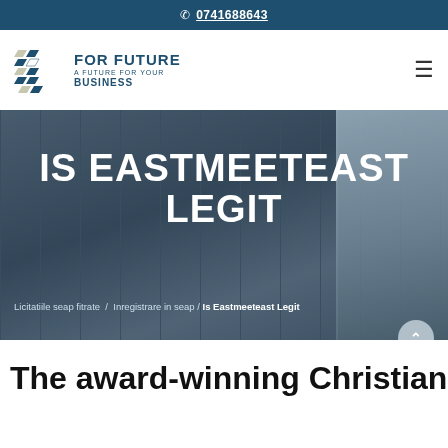0741688643
[Figure (logo): For Future logo with geometric blue and white chevron shapes and text 'FOR FUTURE - A FUTURE for YOUR BUSINESS']
[Figure (photo): Hero banner with dark overlay showing two business people on the right side, with large white bold text 'IS EASTMEETEAST LEGIT' centered]
Licitatiile seap fitrate / Inregistrare in seap / Is Eastmeeteast Legit
The award-winning Christian